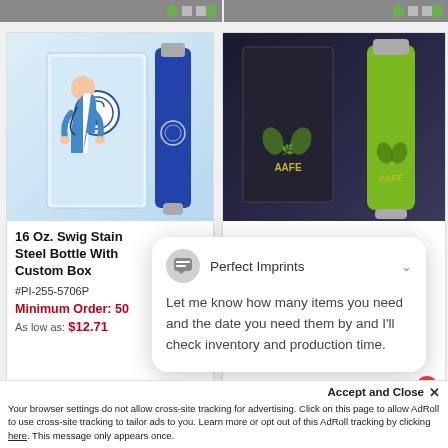[Figure (screenshot): Top navigation bar strip with green buttons on both product cards]
[Figure (photo): Left product card showing 16 Oz. Swig Stainless Steel Bottle With Custom Box — nurse holding blue bottle next to branded box]
[Figure (photo): Right product card showing green AAFE branded water bottle with dark box]
16 Oz. Swig Stainless Steel Bottle With Custom Box
#PI-255-5706P
Minimum Order: 50
As low as: $12.71
Minimum Order: 50
[Figure (screenshot): Chat popup from Perfect Imprints saying: Let me know how many items you need and the date you need them by and I'll check inventory and production time.]
Perfect Imprints
Let me know how many items you need and the date you need them by and I'll check inventory and production time.
Accept and Close ✕
Your browser settings do not allow cross-site tracking for advertising. Click on this page to allow AdRoll to use cross-site tracking to tailor ads to you. Learn more or opt out of this AdRoll tracking by clicking here. This message only appears once.